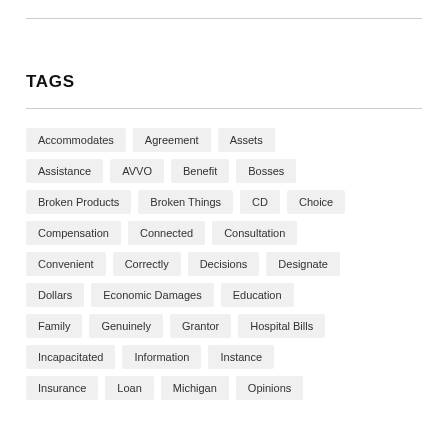TAGS
Accommodates
Agreement
Assets
Assistance
AVVO
Benefit
Bosses
Broken Products
Broken Things
CD
Choice
Compensation
Connected
Consultation
Convenient
Correctly
Decisions
Designate
Dollars
Economic Damages
Education
Family
Genuinely
Grantor
Hospital Bills
Incapacitated
Information
Instance
Insurance
Loan
Michigan
Opinions